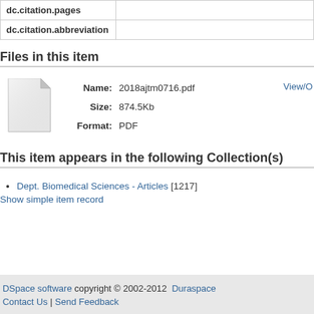| Field | Value |
| --- | --- |
| dc.citation.pages |  |
| dc.citation.abbreviation |  |
Files in this item
[Figure (other): Generic file icon - blank document with folded corner]
Name: 2018ajtm0716.pdf  Size: 874.5Kb  Format: PDF  View/O...
This item appears in the following Collection(s)
Dept. Biomedical Sciences - Articles [1217]
Show simple item record
DSpace software copyright © 2002-2012  Duraspace
Contact Us | Send Feedback